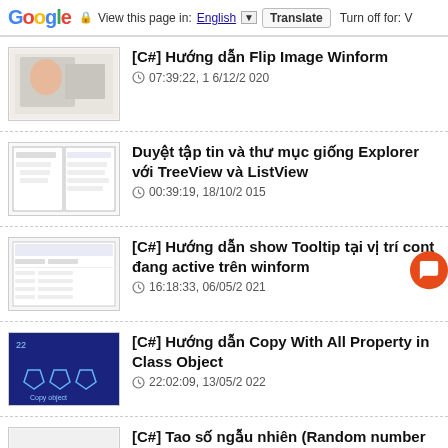Google — View this page in: English ▼ | Translate | Turn off for: V
[C#] Hướng dẫn Flip Image Winform — 07:39:22, 16/12/2020
Duyệt tập tin và thư mục giống Explorer với TreeView và ListView — 00:39:19, 18/10/2015
[C#] Hướng dẫn show Tooltip tại vị trí cont đang active trên winform — 16:18:33, 06/05/2021
[C#] Hướng dẫn Copy With All Property in Class Object — 22:02:09, 13/05/2022
[C#] Tao số ngẫu nhiên (Random number lập trình C#) — 13:15:50, 18/04/2017
[C#] Hướng dẫn lập trình upload file